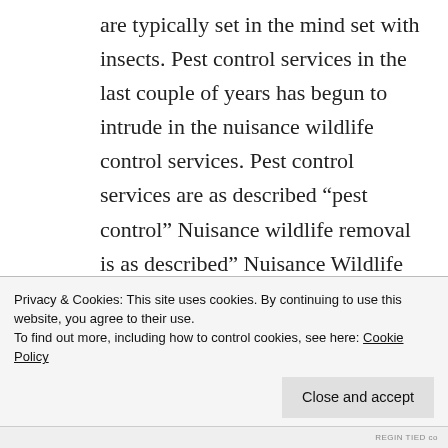are typically set in the mind set with insects. Pest control services in the last couple of years has begun to intrude in the nuisance wildlife control services. Pest control services are as described “pest control” Nuisance wildlife removal is as described” Nuisance Wildlife Removal and Animal Control Service”. A nuisance
Privacy & Cookies: This site uses cookies. By continuing to use this website, you agree to their use.
To find out more, including how to control cookies, see here: Cookie Policy
Close and accept